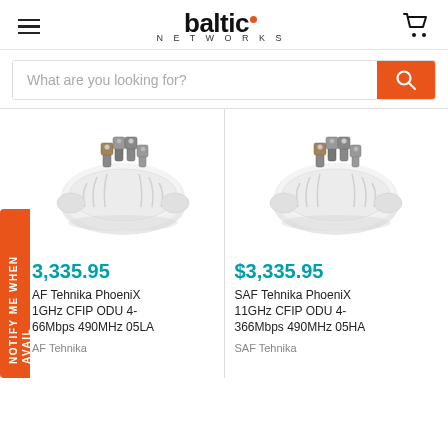baltic NETWORKS
What are you looking for?
[Figure (photo): SAF Tehnika PhoeniX ODU unit - white rounded dome-shaped device with metal connectors on top, left product card]
$3,335.95
SAF Tehnika PhoeniX 11GHz CFIP ODU 4-366Mbps 490MHz 05LA
SAF Tehnika
[Figure (photo): SAF Tehnika PhoeniX ODU unit - white rounded dome-shaped device with metal connectors on top, right product card]
$3,335.95
SAF Tehnika PhoeniX 11GHz CFIP ODU 4-366Mbps 490MHz 05HA
SAF Tehnika